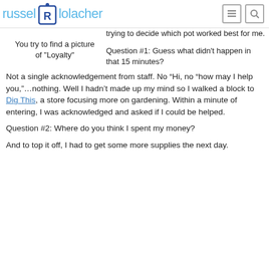russel lolacher
trying to decide which pot worked best for me.
You try to find a picture of "Loyalty"
Question #1: Guess what didn't happen in that 15 minutes?
Not a single acknowledgement from staff. No “Hi, no “how may I help you,”…nothing. Well I hadn't made up my mind so I walked a block to Dig This, a store focusing more on gardening. Within a minute of entering, I was acknowledged and asked if I could be helped.
Question #2: Where do you think I spent my money?
And to top it off, I had to get some more supplies the next day.